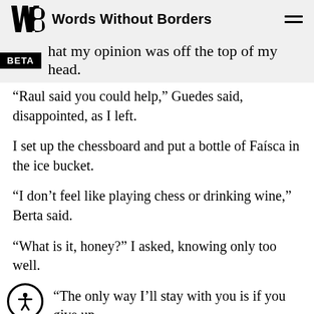Words Without Borders
hat my opinion was off the top of my head.
“Raul said you could help,” Guedes said, disappointed, as I left.
I set up the chessboard and put a bottle of Faísca in the ice bucket.
“I don’t feel like playing chess or drinking wine,” Berta said.
“What is it, honey?” I asked, knowing only too well.
“The only way I’ll stay with you is if you give up that girl.”